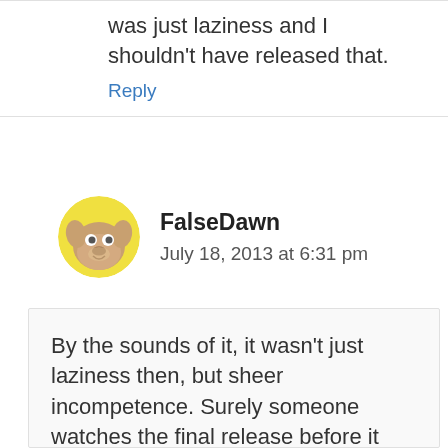was just laziness and I shouldn't have released that.
Reply
FalseDawn
July 18, 2013 at 6:31 pm
By the sounds of it, it wasn't just laziness then, but sheer incompetence. Surely someone watches the final release before it goes out to make sure all the tickboxes are checked? If not, all your previous efforts might as well